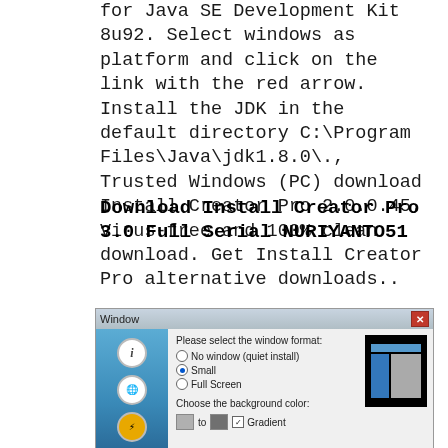for Java SE Development Kit 8u92. Select windows as platform and click on the link with the red arrow. Install the JDK in the default directory C:\Program Files\Java\jdk1.8.0\., Trusted Windows (PC) download Install Creator Pro 2.0.0.45. Virus-free and 100% clean download. Get Install Creator Pro alternative downloads..
Download Install Creator Pro 3.0 Full Serial NURIYANTO51
[Figure (screenshot): A Windows dialog box titled 'Window' with options to select window format (No window/quiet install, Small, Full Screen), choose background color with swatches and a Gradient checkbox, and a preview panel showing a small window layout on black background. Left panel has a blue gradient with circular icons.]